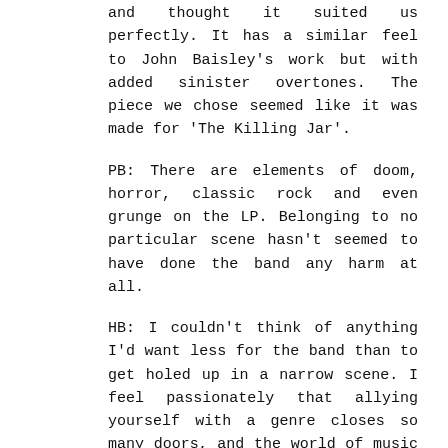and thought it suited us perfectly. It has a similar feel to John Baisley's work but with added sinister overtones. The piece we chose seemed like it was made for 'The Killing Jar'.
PB: There are elements of doom, horror, classic rock and even grunge on the LP. Belonging to no particular scene hasn't seemed to have done the band any harm at all.
HB: I couldn't think of anything I'd want less for the band than to get holed up in a narrow scene. I feel passionately that allying yourself with a genre closes so many doors, and the world of music is far too thrilling and special to limit yourself to one path. It should be a gigantic off-road adventure.